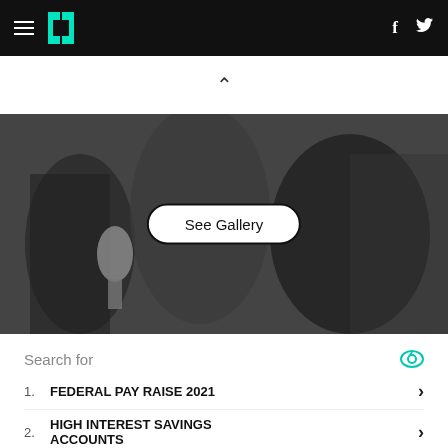HuffPost navigation bar with hamburger menu, logo, Facebook and Twitter icons
[Figure (photo): People in a street scene, dark overlay, with a 'See Gallery' button overlay]
Search for
1. FEDERAL PAY RAISE 2021
2. HIGH INTEREST SAVINGS ACCOUNTS
3. 10 BEST MUTUAL FUNDS